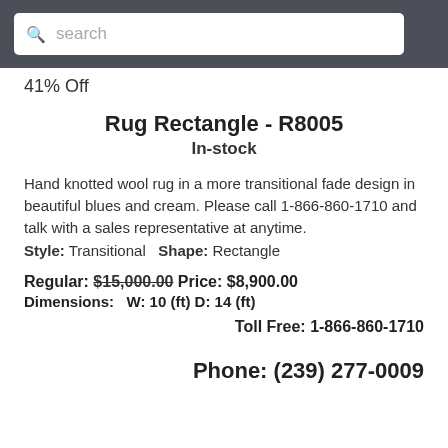search
41% Off
Rug Rectangle - R8005
In-stock
Hand knotted wool rug in a more transitional fade design in beautiful blues and cream. Please call 1-866-860-1710 and talk with a sales representative at anytime.
Style: Transitional  Shape: Rectangle
Regular: $15,000.00 Price: $8,900.00
Dimensions:  W: 10 (ft) D: 14 (ft)
Toll Free: 1-866-860-1710
Phone: (239) 277-0009